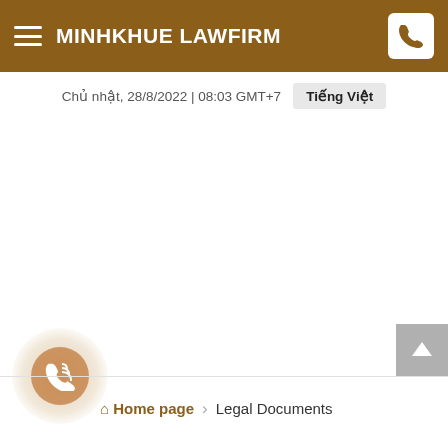MINHKHUE LAWFIRM
Chủ nhật, 28/8/2022 | 08:03 GMT+7   Tiếng Việt
[Figure (screenshot): Floating phone call button with golden glow effect]
[Figure (other): Scroll to top button (grey arrow up)]
Home page › Legal Documents